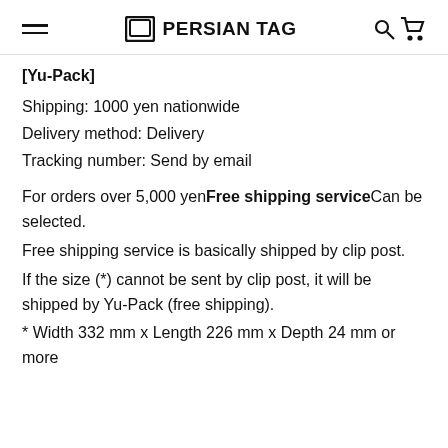PERSIAN TAG
[Yu-Pack]
Shipping: 1000 yen nationwide
Delivery method: Delivery
Tracking number: Send by email
For orders over 5,000 yen Free shipping service Can be selected.
Free shipping service is basically shipped by clip post.
If the size (*) cannot be sent by clip post, it will be shipped by Yu-Pack (free shipping).
* Width 332 mm x Length 226 mm x Depth 24 mm or more